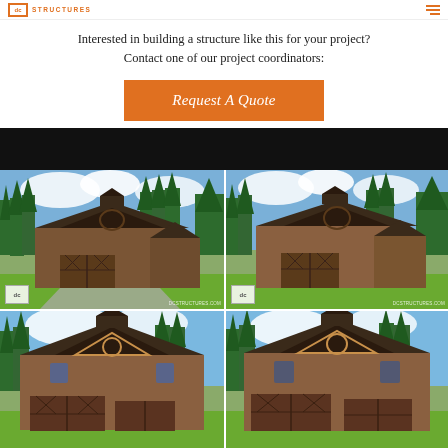DC STRUCTURES
Interested in building a structure like this for your project? Contact one of our project coordinators:
Request A Quote
[Figure (photo): Four photos of a rustic wood-sided barn structure with gambrel roof, decorative cross-braced garage doors, circular window details, and cupola, set against evergreen trees and blue sky. Photos shown in 2x2 grid with DC Structures watermarks.]